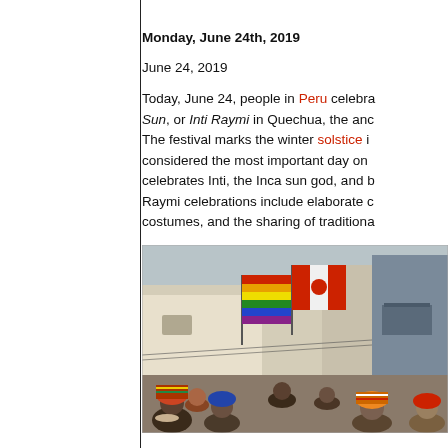Monday, June 24th, 2019
June 24, 2019
Today, June 24, people in Peru celebrate the Festival of the Sun, or Inti Raymi in Quechua, the anc... The festival marks the winter solstice i... considered the most important day on... celebrates Inti, the Inca sun god, and b... Raymi celebrations include elaborate c... costumes, and the sharing of traditiona...
[Figure (photo): Crowd of people in traditional Andean costumes celebrating Inti Raymi festival on a street with colonial buildings and flags in the background.]